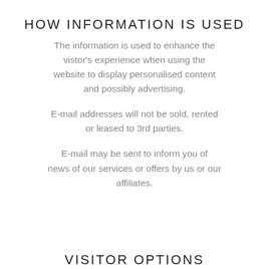HOW INFORMATION IS USED
The information is used to enhance the vistor's experience when using the website to display personalised content and possibly advertising.
E-mail addresses will not be sold, rented or leased to 3rd parties.
E-mail may be sent to inform you of news of our services or offers by us or our affiliates.
VISITOR OPTIONS